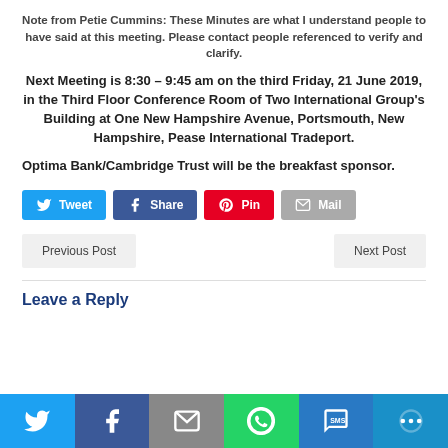Note from Petie Cummins: These Minutes are what I understand people to have said at this meeting. Please contact people referenced to verify and clarify.
Next Meeting is 8:30 – 9:45 am on the third Friday, 21 June 2019, in the Third Floor Conference Room of Two International Group's Building at One New Hampshire Avenue, Portsmouth, New Hampshire, Pease International Tradeport.
Optima Bank/Cambridge Trust will be the breakfast sponsor.
[Figure (infographic): Social share buttons: Tweet (Twitter, blue), Share (Facebook, dark blue), Pin (Pinterest, red), Mail (grey)]
[Figure (infographic): Navigation buttons: Previous Post (left) and Next Post (right)]
Leave a Reply
[Figure (infographic): Bottom social sharing bar with icons: Twitter (blue), Facebook (dark blue), Mail (grey), WhatsApp (green), SMS (blue), More (teal)]